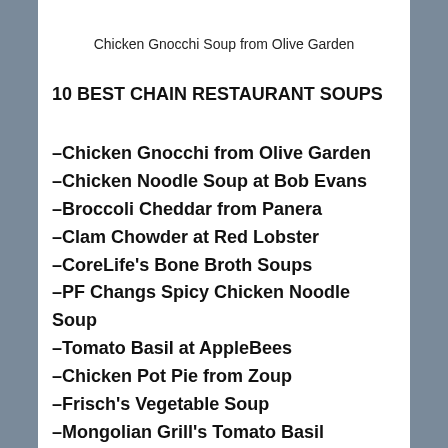Chicken Gnocchi Soup from Olive Garden
10 BEST CHAIN RESTAURANT SOUPS
–Chicken Gnocchi from Olive Garden
–Chicken Noodle Soup at Bob Evans
–Broccoli Cheddar from Panera
–Clam Chowder at Red Lobster
–CoreLife's Bone Broth Soups
–PF Changs Spicy Chicken Noodle Soup
–Tomato Basil at AppleBees
–Chicken Pot Pie from Zoup
–Frisch's Vegetable Soup
–Mongolian Grill's Tomato Basil